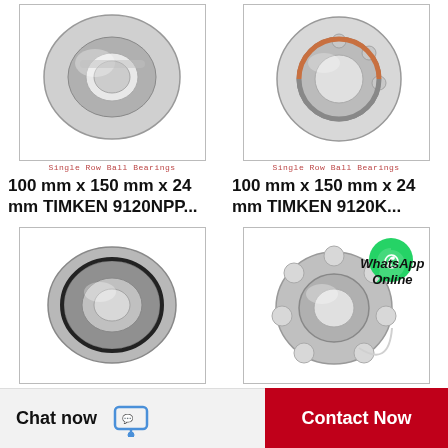[Figure (photo): Single row ball bearing, metallic, top-left product]
Single Row Ball Bearings
[Figure (photo): Single row ball bearing, angular contact type, top-right product]
Single Row Ball Bearings
100 mm x 150 mm x 24 mm TIMKEN 9120NPP...
100 mm x 150 mm x 24 mm TIMKEN 9120K...
[Figure (photo): Single row ball bearing, bottom-left product]
Single Row Ball Bearings
[Figure (photo): Single row ball bearing with WhatsApp Online overlay, bottom-right product]
Single Row Ball Bearings
Chat now
Contact Now